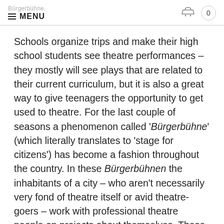Bürgerbühne. MENU 0
Schools organize trips and make their high school students see theatre performances – they mostly will see plays that are related to their current curriculum, but it is also a great way to give teenagers the opportunity to get used to theatre. For the last couple of seasons a phenomenon called 'Bürgerbühne' (which literally translates to 'stage for citizens') has become a fashion throughout the country. In these Bürgerbühnen the inhabitants of a city – who aren't necessarily very fond of theatre itself or avid theatre-goers – work with professional theatre people on projects about themselves. These projects are presented on the real stage of the real theatre in their city. I think this gives quite a good example of how theatre and its audience